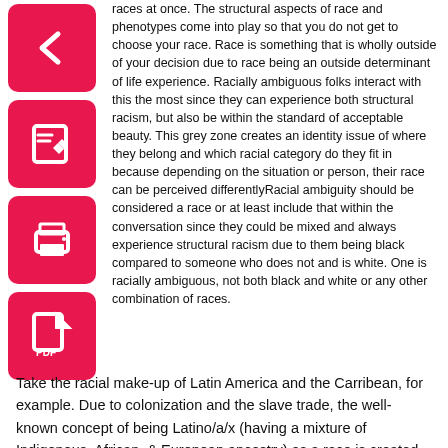[Figure (illustration): Four pink/red rounded square icons in a vertical column on the left side: a left arrow icon, an edit/pencil icon, a print icon, and a PDF/document icon.]
races at once. The structural aspects of race and phenotypes come into play so that you do not get to choose your race. Race is something that is wholly outside of your decision due to race being an outside determinant of life experience. Racially ambiguous folks interact with this the most since they can experience both structural racism, but also be within the standard of acceptable beauty. This grey zone creates an identity issue of where they belong and which racial category do they fit in because depending on the situation or person, their race can be perceived differentlyRacial ambiguity should be considered a race or at least include that within the conversation since they could be mixed and always experience structural racism due to them being black compared to someone who does not and is white. One is racially ambiguous, not both black and white or any other combination of races.
Take the racial make-up of Latin America and the Carribean, for example. Due to colonization and the slave trade, the well-known concept of being Latino/a/x (having a mixture of Indigenous, African, & European ancestry) as a race is created. As time has gone on, conversations about race are finally being brought to the table. Racial discrimination exists among Black/Afro and Indigenous populations due to the fact that white and mestizo (white & indigenous) are seen as superior through the eurocentric standards that plague the Latin community.
The racial makeup of Latin America is just as racially diverse as the